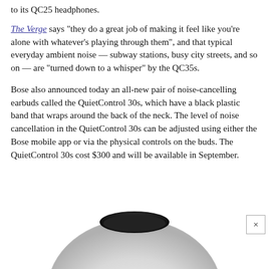to its QC25 headphones.
The Verge says "they do a great job of making it feel like you're alone with whatever's playing through them", and that typical everyday ambient noise — subway stations, busy city streets, and so on — are "turned down to a whisper" by the QC35s.
Bose also announced today an all-new pair of noise-cancelling earbuds called the QuietControl 30s, which have a black plastic band that wraps around the back of the neck. The level of noise cancellation in the QuietControl 30s can be adjusted using either the Bose mobile app or via the physical controls on the buds. The QuietControl 30s cost $300 and will be available in September.
[Figure (photo): Bottom portion of a pair of white over-ear headphones visible at the bottom of the page, with a close/dismiss button (×) in the lower right corner.]